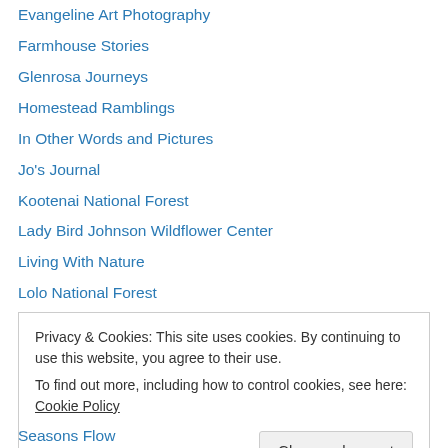Evangeline Art Photography
Farmhouse Stories
Glenrosa Journeys
Homestead Ramblings
In Other Words and Pictures
Jo's Journal
Kootenai National Forest
Lady Bird Johnson Wildflower Center
Living With Nature
Lolo National Forest
Mama's Empty Nest
Montana Environ Info Center
Montana Natural History Center
Privacy & Cookies: This site uses cookies. By continuing to use this website, you agree to their use. To find out more, including how to control cookies, see here: Cookie Policy
Seasons Flow